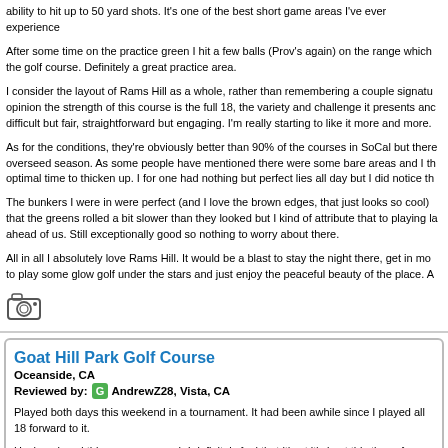ability to hit up to 50 yard shots. It's one of the best short game areas I've ever experience
After some time on the practice green I hit a few balls (Prov's again) on the range which the golf course. Definitely a great practice area.
I consider the layout of Rams Hill as a whole, rather than remembering a couple signatu opinion the strength of this course is the full 18, the variety and challenge it presents anc difficult but fair, straightforward but engaging. I'm really starting to like it more and more.
As for the conditions, they're obviously better than 90% of the courses in SoCal but there overseed season. As some people have mentioned there were some bare areas and I th optimal time to thicken up. I for one had nothing but perfect lies all day but I did notice th
The bunkers I were in were perfect (and I love the brown edges, that just looks so cool) that the greens rolled a bit slower than they looked but I kind of attribute that to playing la ahead of us. Still exceptionally good so nothing to worry about there.
All in all I absolutely love Rams Hill. It would be a blast to stay the night there, get in mo to play some glow golf under the stars and just enjoy the peaceful beauty of the place. A
[Figure (illustration): Camera icon]
Goat Hill Park Golf Course
Oceanside, CA
Reviewed by: AndrewZ28, Vista, CA
Played both days this weekend in a tournament. It had been awhile since I played all 18 forward to it.
Having played this course so much I definitely feel that it's at it's best this time of year. T the greens are just exceptional.
All the improvements have taken and filled in and the course was so much fun and in gr